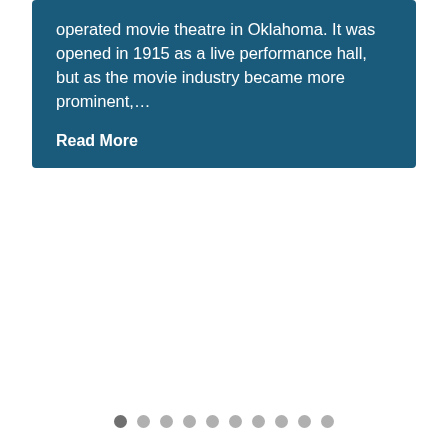operated movie theatre in Oklahoma. It was opened in 1915 as a live performance hall, but as the movie industry became more prominent,…
Read More
[Figure (other): Pagination dots: 10 dots in a row, first dot is dark/active, remaining 9 are light gray]